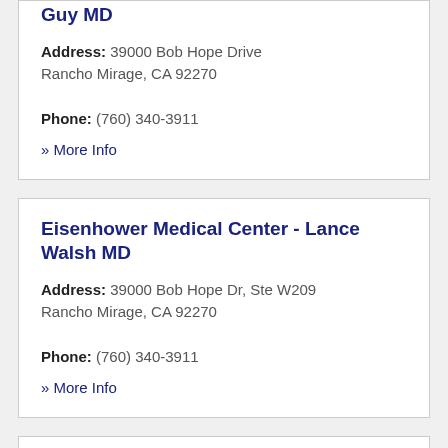Guy MD
Address: 39000 Bob Hope Drive Rancho Mirage, CA 92270
Phone: (760) 340-3911
» More Info
Eisenhower Medical Center - Lance Walsh MD
Address: 39000 Bob Hope Dr, Ste W209 Rancho Mirage, CA 92270
Phone: (760) 340-3911
» More Info
Eisenhower Medical Center - Leora